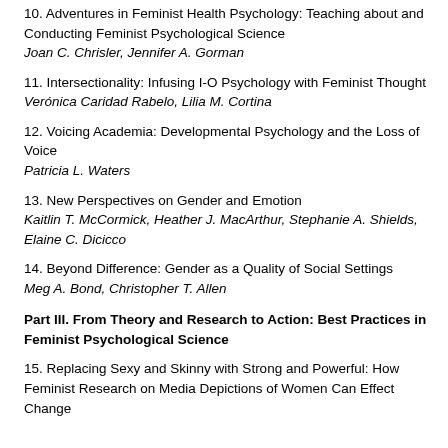10. Adventures in Feminist Health Psychology: Teaching about and Conducting Feminist Psychological Science
Joan C. Chrisler, Jennifer A. Gorman
11. Intersectionality: Infusing I-O Psychology with Feminist Thought
Verónica Caridad Rabelo, Lilia M. Cortina
12. Voicing Academia: Developmental Psychology and the Loss of Voice
Patricia L. Waters
13. New Perspectives on Gender and Emotion
Kaitlin T. McCormick, Heather J. MacArthur, Stephanie A. Shields, Elaine C. Dicicco
14. Beyond Difference: Gender as a Quality of Social Settings
Meg A. Bond, Christopher T. Allen
Part III. From Theory and Research to Action: Best Practices in Feminist Psychological Science
15. Replacing Sexy and Skinny with Strong and Powerful: How Feminist Research on Media Depictions of Women Can Effect Change